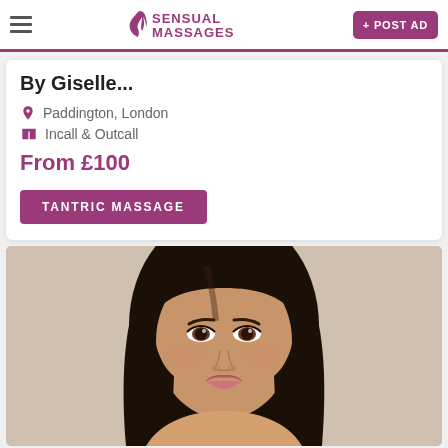Sensual Massages — navigation bar with logo and + POST AD button
By Giselle...
Paddington, London
Incall & Outcall
From £100
TANTRIC MASSAGE
[Figure (photo): Portrait photo of a young woman with long dark straight hair, wearing makeup, looking slightly to the side with a subtle smile, neutral background]